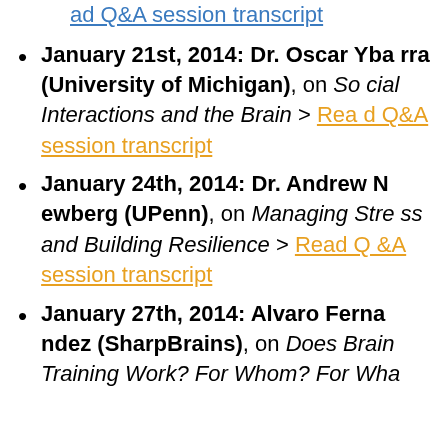ad Q&A session transcript (link, top partial)
January 21st, 2014: Dr. Oscar Ybarra (University of Michigan), on Social Interactions and the Brain > Read Q&A session transcript
January 24th, 2014: Dr. Andrew Newberg (UPenn), on Managing Stress and Building Resilience > Read Q&A session transcript
January 27th, 2014: Alvaro Fernandez (SharpBrains), on Does Brain Training Work? For Whom? For Wha